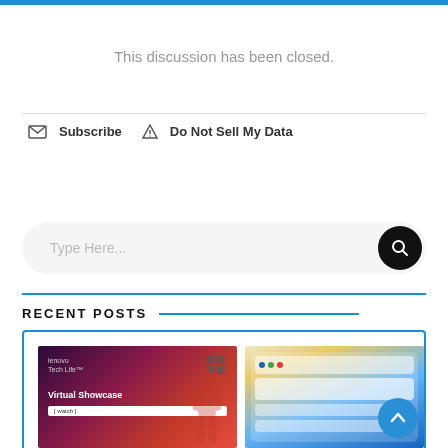This discussion has been closed.
Subscribe  Do Not Sell My Data
Type Here...
RECENT POSTS
[Figure (photo): Two thumbnail images: left shows a Lenovo Tech Life Virtual Showcase banner with a silhouette figure and purple-red gradient; right shows Windows 11 widgets interface with blue wave swirl]
[Figure (screenshot): Windows 11 widgets/UI screenshot with blue wave background]